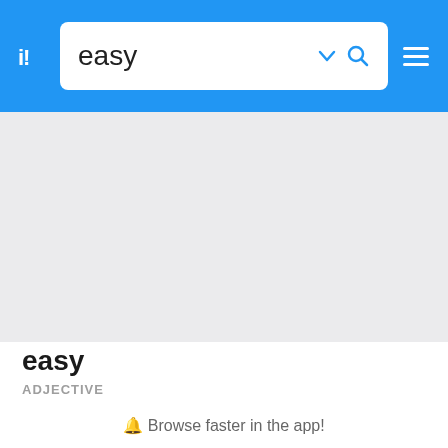i! easy [search bar with chevron and search icon] [hamburger menu]
[Figure (screenshot): Gray placeholder content area below the search header]
easy
ADJECTIVE
🔔 Browse faster in the app!